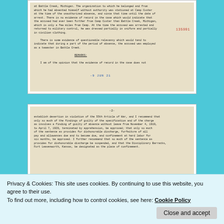[Figure (photo): Scanned military document page showing typewritten text about an accused soldier at Battle Creek, Michigan, Camp Custer, discussing unauthorized absence, evidence of record, and employment as a teamster. Includes red stamp number 135991 and blue date stamp JUN 21.]
[Figure (photo): Scanned military document page 2 showing typewritten text establishing desertion in violation of the 55th Article of War, recommending findings of guilty of absence without leave from November 4, 1919 to April 7, 1920, terminated by apprehension, with sentence including dishonorable discharge, forfeiture of pay, and confinement at hard labor for six months, with Disciplinary Barracks, Fort Leavenworth, Kansas designated as place of confinement.]
Privacy & Cookies: This site uses cookies. By continuing to use this website, you agree to their use.
To find out more, including how to control cookies, see here: Cookie Policy
Close and accept
desertion, simply AWOL. Six months for AWOL versus 18